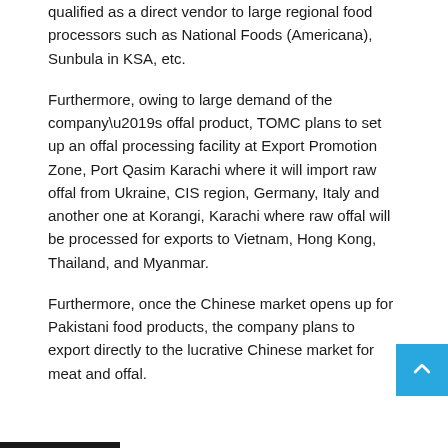qualified as a direct vendor to large regional food processors such as National Foods (Americana), Sunbula in KSA, etc.
Furthermore, owing to large demand of the company’s offal product, TOMC plans to set up an offal processing facility at Export Promotion Zone, Port Qasim Karachi where it will import raw offal from Ukraine, CIS region, Germany, Italy and another one at Korangi, Karachi where raw offal will be processed for exports to Vietnam, Hong Kong, Thailand, and Myanmar.
Furthermore, once the Chinese market opens up for Pakistani food products, the company plans to export directly to the lucrative Chinese market for meat and offal.